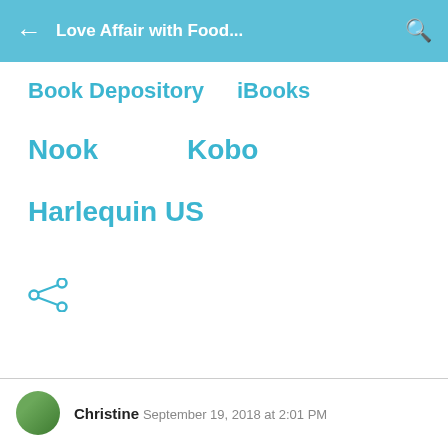Love Affair with Food...
Book Depository    iBooks
Nook    Kobo
Harlequin US
[Figure (other): Share icon (less-than style share symbol)]
Christine  September 19, 2018 at 2:01 PM